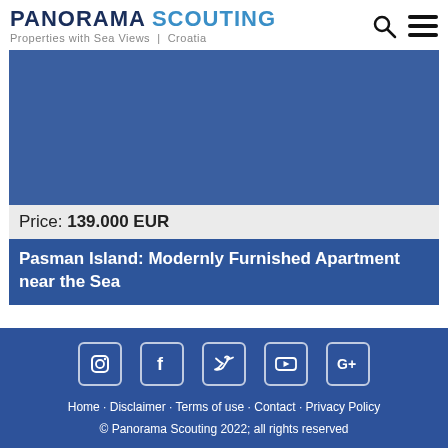PANORAMA SCOUTING Properties with Sea Views | Croatia
[Figure (photo): Blue placeholder image representing a property photo for Pasman Island apartment]
Price: 139.000 EUR
Pasman Island: Modernly Furnished Apartment near the Sea
Home · Disclaimer · Terms of use · Contact · Privacy Policy
© Panorama Scouting 2022; all rights reserved